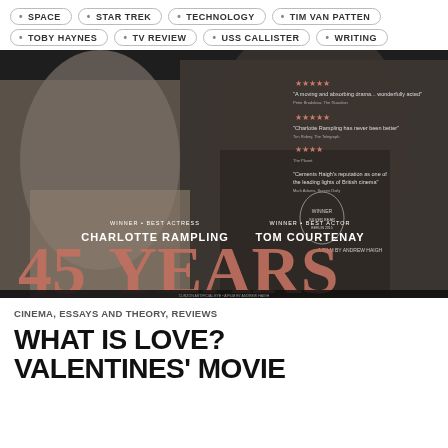SPACE
STAR TREK
TECHNOLOGY
TIM VAN PATTEN
TOBY HAYNES
TV REVIEW
USS CALLISTER
WRITING
[Figure (photo): Movie poster for '45 Years' featuring Charlotte Rampling and Tom Courtenay in black and white, with pink/rose title text '45 YEARS', star reviews, and award winner badges for Best Actress and Best Actor.]
CINEMA, ESSAYS AND THEORY, REVIEWS
WHAT IS LOVE? VALENTINES' MOVIE